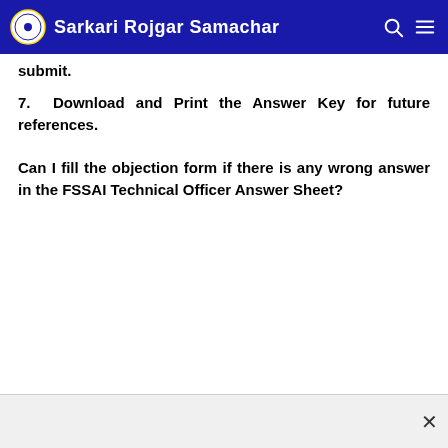Sarkari Rojgar Samachar
submit.
7.  Download and Print the Answer Key for future references.
Can I fill the objection form if there is any wrong answer in the FSSAI Technical Officer Answer Sheet?